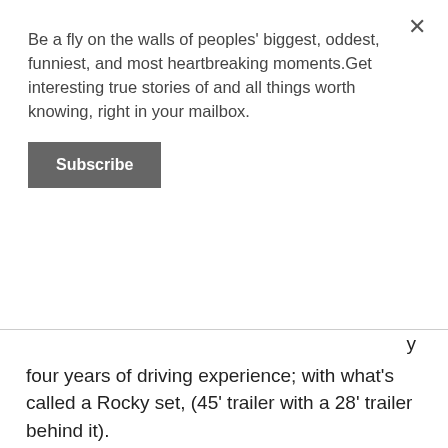Be a fly on the walls of peoples' biggest, oddest, funniest, and most heartbreaking moments.Get interesting true stories of and all things worth knowing, right in your mailbox.
Subscribe
four years of driving experience; with what's called a Rocky set, (45' trailer with a 28' trailer behind it).
This person couldn't turn for crap, I still wonder how they never hit anyone. So, when I train it's two 28's, that's all they pull for two weeks. So, we take our second turn, a left onto a pretty wide street and they're turning like they're in a car. Like, not even into the intersection and